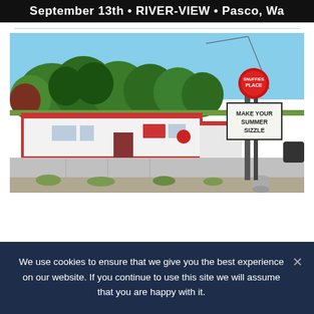September 13th • RIVER-VIEW • Pasco, Wa
[Figure (photo): Exterior photo of a small commercial building (likely a restaurant or bar) with a red-trimmed white structure, a tall sign post displaying 'MAKE YOUR SUMMER SIZZLE', a circular branded logo at the top of the sign, trees in the background, and a parking lot in the foreground.]
We use cookies to ensure that we give you the best experience on our website. If you continue to use this site we will assume that you are happy with it.